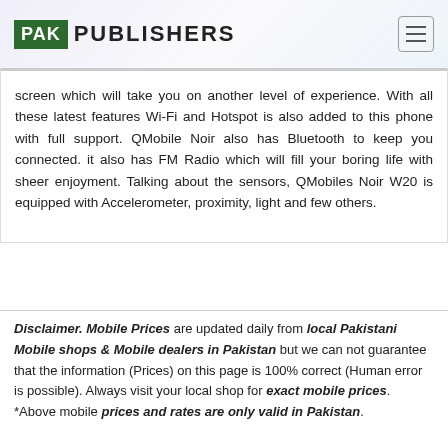PAK PUBLISHERS
screen which will take you on another level of experience. With all these latest features Wi-Fi and Hotspot is also added to this phone with full support. QMobile Noir also has Bluetooth to keep you connected. it also has FM Radio which will fill your boring life with sheer enjoyment. Talking about the sensors, QMobiles Noir W20 is equipped with Accelerometer, proximity, light and few others.
Disclaimer. Mobile Prices are updated daily from local Pakistani Mobile shops & Mobile dealers in Pakistan but we can not guarantee that the information (Prices) on this page is 100% correct (Human error is possible). Always visit your local shop for exact mobile prices. *Above mobile prices and rates are only valid in Pakistan.